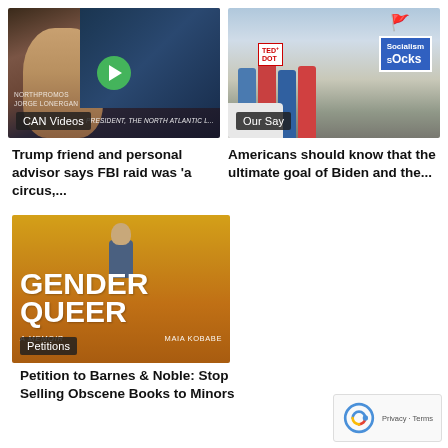[Figure (screenshot): Video thumbnail showing a bald man laughing in front of a screen, with a green play button overlay and 'CAN Videos' label]
Trump friend and personal advisor says FBI raid was 'a circus,...
[Figure (photo): Photo of people at a rally holding flags and a 'Socialism Sucks' banner, with 'Our Say' label]
Americans should know that the ultimate goal of Biden and the...
[Figure (photo): Cover of 'Gender Queer: A Memoir' by Maia Kobabe, showing illustrated figure, with 'Petitions' label]
Petition to Barnes & Noble: Stop Selling Obscene Books to Minors